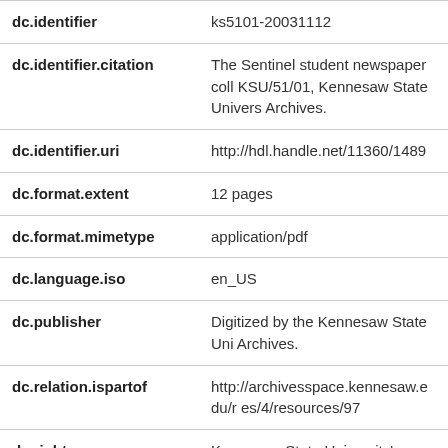| Field | Value |
| --- | --- |
| dc.identifier | ks5101-20031112 |
| dc.identifier.citation | The Sentinel student newspaper coll KSU/51/01, Kennesaw State Univers Archives. |
| dc.identifier.uri | http://hdl.handle.net/11360/1489 |
| dc.format.extent | 12 pages |
| dc.format.mimetype | application/pdf |
| dc.language.iso | en_US |
| dc.publisher | Digitized by the Kennesaw State Uni Archives. |
| dc.relation.ispartof | http://archivesspace.kennesaw.edu/r es/4/resources/97 |
| dc.rights | Kennesaw State University's Departr Museums, Archives & Rare Books pr the information contained on this site |